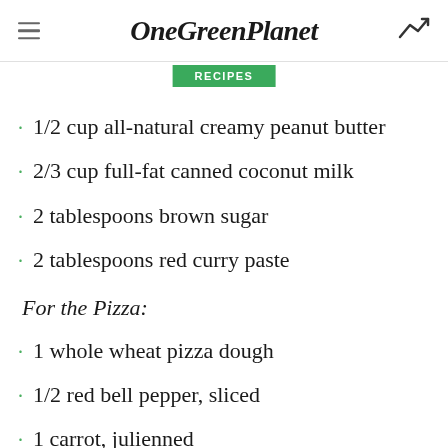OneGreenPlanet RECIPES
1/2 cup all-natural creamy peanut butter
2/3 cup full-fat canned coconut milk
2 tablespoons brown sugar
2 tablespoons red curry paste
For the Pizza:
1 whole wheat pizza dough
1/2 red bell pepper, sliced
1 carrot, julienned
1/2 small red onion, thinly sliced